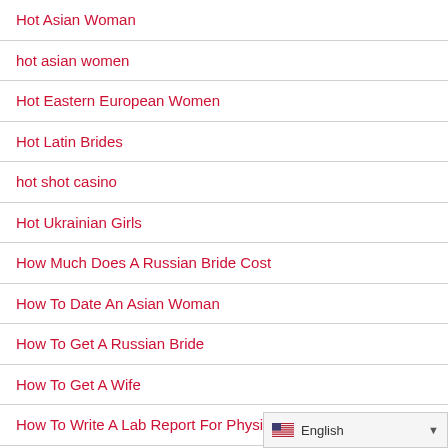Hot Asian Woman
hot asian women
Hot Eastern European Women
Hot Latin Brides
hot shot casino
Hot Ukrainian Girls
How Much Does A Russian Bride Cost
How To Date An Asian Woman
How To Get A Russian Bride
How To Get A Wife
How To Write A Lab Report For Physics
How To Write A Literature Review...